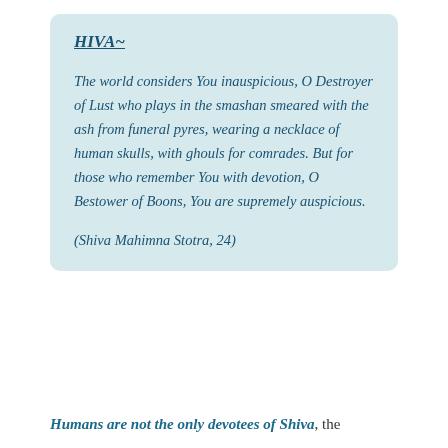HIVA~
The world considers You inauspicious, O Destroyer of Lust who plays in the smashan smeared with the ash from funeral pyres, wearing a necklace of human skulls, with ghouls for comrades. But for those who remember You with devotion, O Bestower of Boons, You are supremely auspicious.
(Shiva Mahimna Stotra, 24)
Humans are not the only devotees of Shiva, the